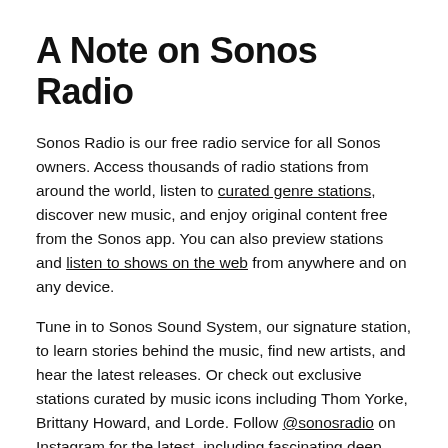A Note on Sonos Radio
Sonos Radio is our free radio service for all Sonos owners. Access thousands of radio stations from around the world, listen to curated genre stations, discover new music, and enjoy original content free from the Sonos app. You can also preview stations and listen to shows on the web from anywhere and on any device.
Tune in to Sonos Sound System, our signature station, to learn stories behind the music, find new artists, and hear the latest releases. Or check out exclusive stations curated by music icons including Thom Yorke, Brittany Howard, and Lorde. Follow @sonosradio on Instagram for the latest, including fascinating deep dives into radio culture.